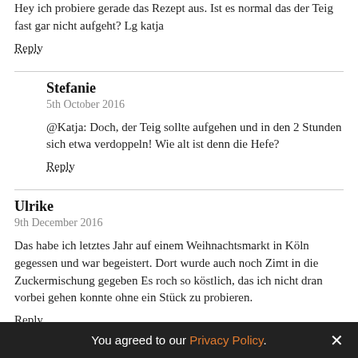Hey ich probiere gerade das Rezept aus. Ist es normal das der Teig fast gar nicht aufgeht? Lg katja
Reply
Stefanie
5th October 2016
@Katja: Doch, der Teig sollte aufgehen und in den 2 Stunden sich etwa verdoppeln! Wie alt ist denn die Hefe?
Reply
Ulrike
9th December 2016
Das habe ich letztes Jahr auf einem Weihnachtsmarkt in Köln gegessen und war begeistert. Dort wurde auch noch Zimt in die Zuckermischung gegeben Es roch so köstlich, das ich nicht dran vorbei gehen konnte ohne ein Stück zu probieren.
Reply
Stefanie
You agreed to our Privacy Policy.